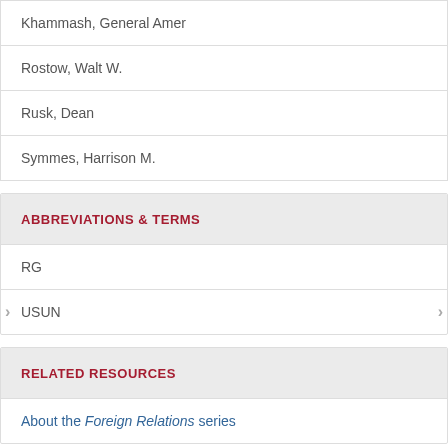| Khammash, General Amer |
| Rostow, Walt W. |
| Rusk, Dean |
| Symmes, Harrison M. |
ABBREVIATIONS & TERMS
RG
USUN
RELATED RESOURCES
About the Foreign Relations series